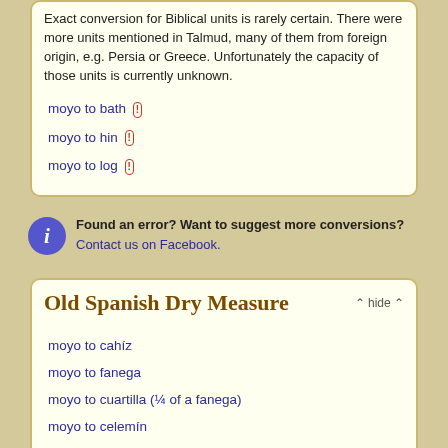Exact conversion for Biblical units is rarely certain. There were more units mentioned in Talmud, many of them from foreign origin, e.g. Persia or Greece. Unfortunately the capacity of those units is currently unknown.
moyo to bath
moyo to hin
moyo to log
Found an error? Want to suggest more conversions? Contact us on Facebook.
Old Spanish Dry Measure
moyo to cahíz
moyo to fanega
moyo to cuartilla (¼ of a fanega)
moyo to celemín
moyo to medio
moyo to cuartillo (¼ of a celemín)